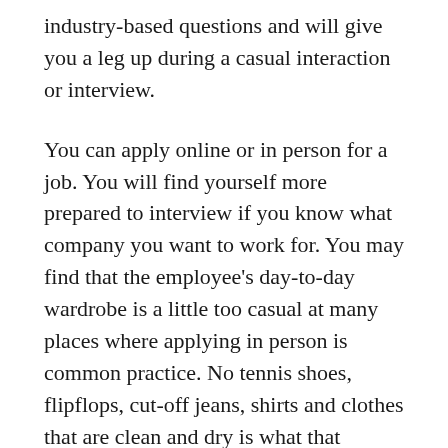industry-based questions and will give you a leg up during a casual interaction or interview.
You can apply online or in person for a job. You will find yourself more prepared to interview if you know what company you want to work for. You may find that the employee's day-to-day wardrobe is a little too casual at many places where applying in person is common practice. No tennis shoes, flipflops, cut-off jeans, shirts and clothes that are clean and dry is what that means.
It's possible to use a mirror or bounce ideas for a friend or family member. Anything you can do before the event to make sure you put your best